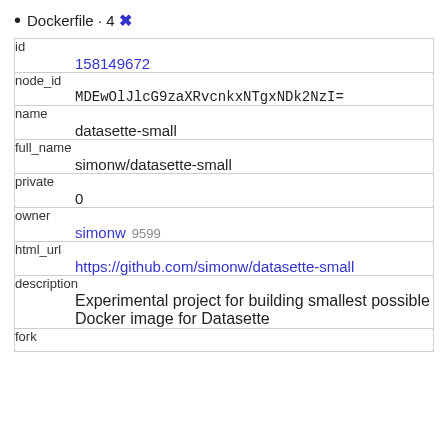Dockerfile · 4 ✖
| id | 158149672 |
| node_id | MDEwOlJlcG9zaXRvcnkxNTgxNDk2NzI= |
| name | datasette-small |
| full_name | simonw/datasette-small |
| private | 0 |
| owner | simonw 9599 |
| html_url | https://github.com/simonw/datasette-small |
| description | Experimental project for building smallest possible Docker image for Datasette |
| fork |  |